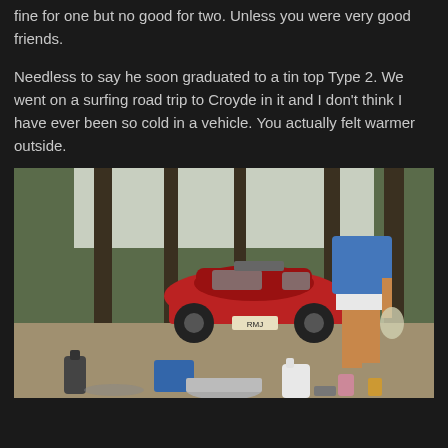fine for one but no good for two. Unless you were very good friends.
Needless to say he soon graduated to a tin top Type 2. We went on a surfing road trip to Croyde in it and I don't think I have ever been so cold in a vehicle. You actually felt warmer outside.
[Figure (photo): Outdoor camping scene with a red Citroën 2CV car (license plate RMJ) parked among pine trees. A person in a blue shirt and white shorts stands in the foreground holding a bag. Camping equipment including pots, a kettle, a milk bottle, and other items are spread on the ground in front.]